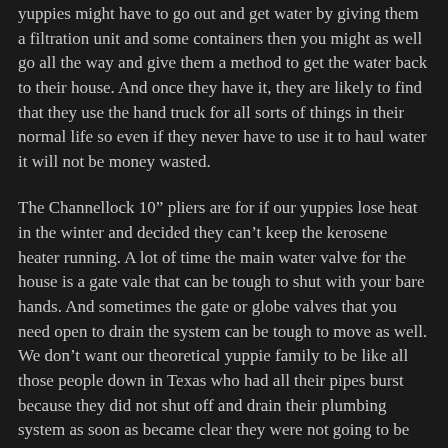yuppies might have to go out and get water by giving them a filtration unit and some containers then you might as well go all the way and give them a method to get the water back to their house. And once they have it, they are likely to find that they use the hand truck for all sorts of things in their normal life so even if they never have to use it to haul water it will not be money wasted.
The Channellock 10" pliers are for if our yuppies lose heat in the winter and decided they can't keep the kerosene heater running. A lot of time the main water valve for the house is a gate vale that can be tough to shut with your bare hands. And sometimes the gate or globe valves that you need open to drain the system can be tough to move as well. We don't want our theoretical yuppie family to be like all those people down in Texas who had all their pipes burst because they did not shut off and drain their plumbing system as soon as became clear they were not going to be able to heat their homes. Having a tool to make stubborn valves open or close is a key component of that.